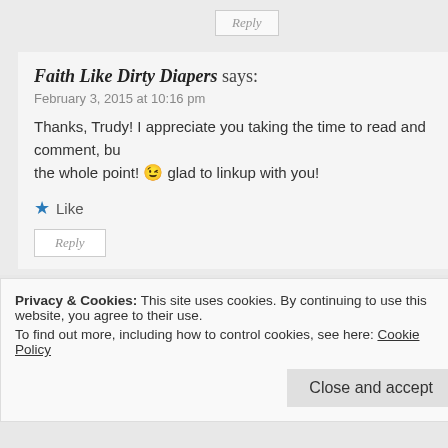Reply
Faith Like Dirty Diapers says:
February 3, 2015 at 10:16 pm
Thanks, Trudy! I appreciate you taking the time to read and comment, bu the whole point! 😉 glad to linkup with you!
★ Like
Reply
Anita Ojeda says:
February 4, 2015 at 1:35 am
Privacy & Cookies: This site uses cookies. By continuing to use this website, you agree to their use. To find out more, including how to control cookies, see here: Cookie Policy
Close and accept